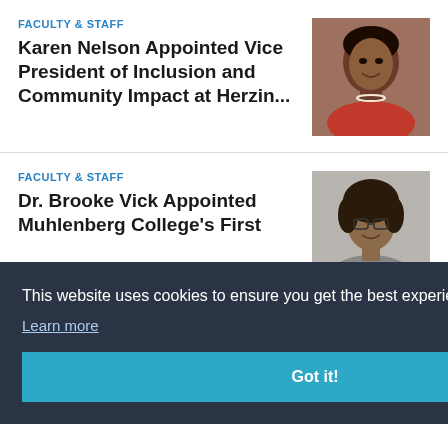FACULTY & STAFF
Karen Nelson Appointed Vice President of Inclusion and Community Impact at Herzin...
[Figure (photo): Headshot of Karen Nelson, a woman wearing red jacket and pearl necklace]
FACULTY & STAFF
Dr. Brooke Vick Appointed Muhlenberg College's First
[Figure (photo): Headshot of Dr. Brooke Vick, a woman with glasses and curly hair]
[Figure (photo): Partial headshot of a third person wearing glasses]
This website uses cookies to ensure you get the best experience on our website.
Learn more
Got it!